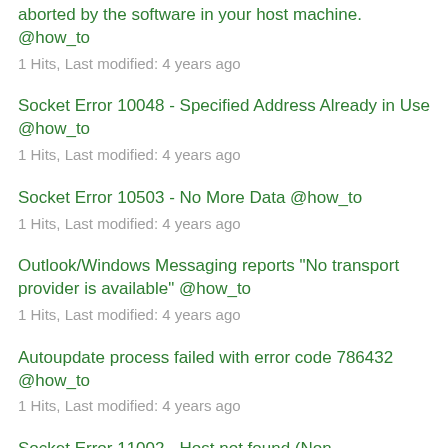aborted by the software in your host machine. @how_to
1 Hits, Last modified: 4 years ago
Socket Error 10048 - Specified Address Already in Use @how_to
1 Hits, Last modified: 4 years ago
Socket Error 10503 - No More Data @how_to
1 Hits, Last modified: 4 years ago
Outlook/Windows Messaging reports "No transport provider is available" @how_to
1 Hits, Last modified: 4 years ago
Autoupdate process failed with error code 786432 @how_to
1 Hits, Last modified: 4 years ago
Socket Error 11002 - Host not found (Non-Authoritative answer) @how_to